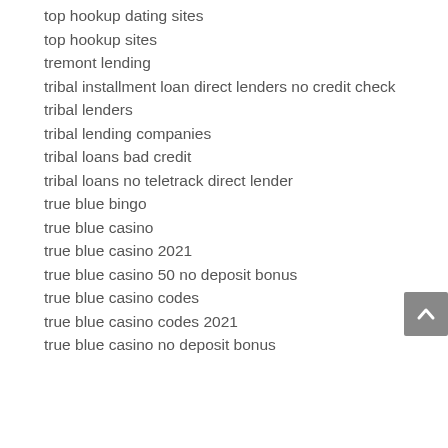top hookup dating sites
top hookup sites
tremont lending
tribal installment loan direct lenders no credit check
tribal lenders
tribal lending companies
tribal loans bad credit
tribal loans no teletrack direct lender
true blue bingo
true blue casino
true blue casino 2021
true blue casino 50 no deposit bonus
true blue casino codes
true blue casino codes 2021
true blue casino no deposit bonus